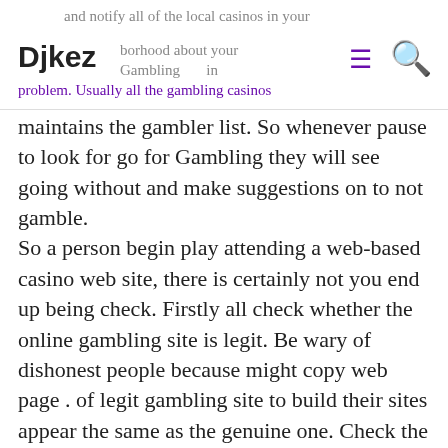and notify all of the local casinos in your neighborhood about your Gambling problem. Usually all the gambling casinos
maintains the gambler list. So whenever pause to look for go for Gambling they will see going without and make suggestions on to not gamble.
So a person begin play attending a web-based casino web site, there is certainly not you end up being check. Firstly all check whether the online gambling site is legit. Be wary of dishonest people because might copy web page . of legit gambling site to build their sites appear the same as the genuine one. Check the web site that you’re on whether it is actually what you believe of.
More optimistic Baccarat tips favor positive progression systems to manage money. Here, every time you win a hand, increase the scale